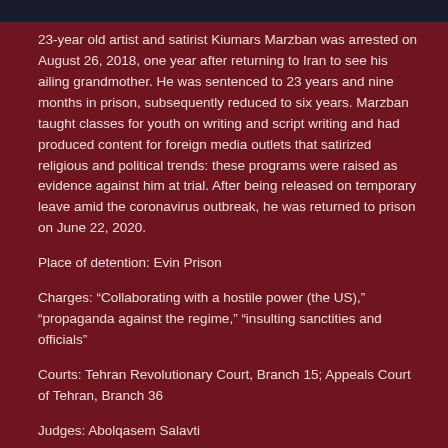23-year old artist and satirist Kiumars Marzban was arrested on August 26, 2018, one year after returning to Iran to see his ailing grandmother. He was sentenced to 23 years and nine months in prison, subsequently reduced to six years. Marzban taught classes for youth on writing and script writing and had produced content for foreign media outlets that satirized religious and political trends: these programs were raised as evidence against him at trial. After being released on temporary leave amid the coronavirus outbreak, he was returned to prison on June 22, 2020.
Place of detention: Evin Prison
Charges: “Collaborating with a hostile power (the US),” “propaganda against the regime,” “insulting sanctities and officials”
Courts: Tehran Revolutionary Court, Branch 15; Appeals Court of Tehran, Branch 36
Judges: Abolqasem Salavti